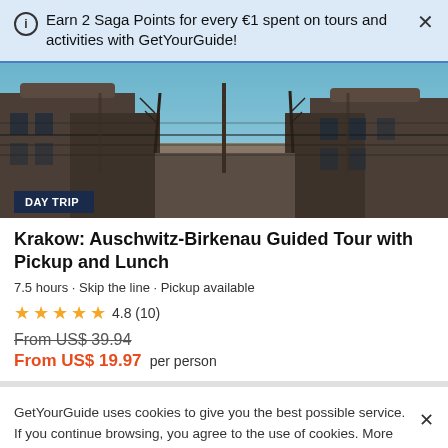Earn 2 Saga Points for every €1 spent on tours and activities with GetYourGuide!
[Figure (photo): Photo of Auschwitz-Birkenau concentration camp buildings behind barbed wire fences, with bare trees and an overcast sky. A 'DAY TRIP' badge is overlaid in the bottom-left corner.]
Krakow: Auschwitz-Birkenau Guided Tour with Pickup and Lunch
7.5 hours • Skip the line • Pickup available
★★★★★ 4.8 (10)
From US$ 39.94
From US$ 19.97 per person
GetYourGuide uses cookies to give you the best possible service. If you continue browsing, you agree to the use of cookies. More details can be found in our privacy policy.